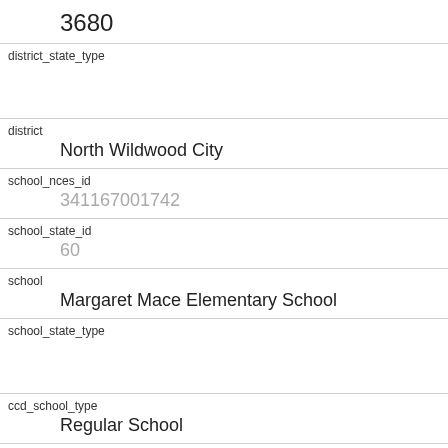| (continued) | 3680 |
| district_state_type |  |
| district | North Wildwood City |
| school_nces_id | 341167001742 |
| school_state_id | 60 |
| school | Margaret Mace Elementary School |
| school_state_type |  |
| ccd_school_type | Regular School |
| ccd_charter_school | No |
| ccd_school_lvl | Elementary |
| ccd_school_low_grade |  |